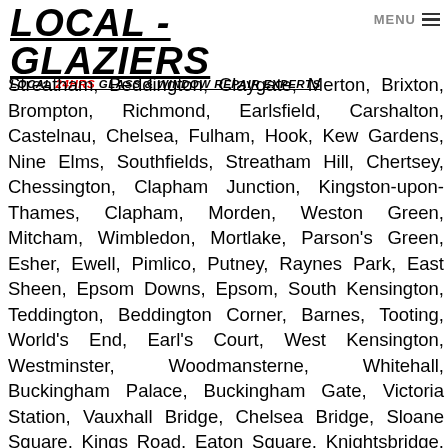LOCAL - GLAZIERS
LOCAL 24HRS GLASS & WINDOW REPAIR EXPERTS
Streatham, Beddington, Claygate, Merton, Brixton, Brompton, Richmond, Earlsfield, Carshalton, Castelnau, Chelsea, Fulham, Hook, Kew Gardens, Nine Elms, Southfields, Streatham Hill, Chertsey, Chessington, Clapham Junction, Kingston-upon-Thames, Clapham, Morden, Weston Green, Mitcham, Wimbledon, Mortlake, Parson's Green, Esher, Ewell, Pimlico, Putney, Raynes Park, East Sheen, Epsom Downs, Epsom, South Kensington, Teddington, Beddington Corner, Barnes, Tooting, World's End, Earl's Court, West Kensington, Westminster, Woodmansterne, Whitehall, Buckingham Palace, Buckingham Gate, Victoria Station, Vauxhall Bridge, Chelsea Bridge, Sloane Square, Kings Road, Eaton Square, Knightsbridge, St. James's, Brixton Hill, Clapham Park, Lambeth, Earls Court, Hammersmith, Vauxhall, Oval, West Brompton, Clapham South, Hyde Farm, Roehampton, Kingston Vale, Norbury, Thornton Heath, Streatham Park, Furzedown, Streatham Vale, Mitcham Common, Pollards Hill, Colliers Wood, Merton Park, Merton, Abbeydale...